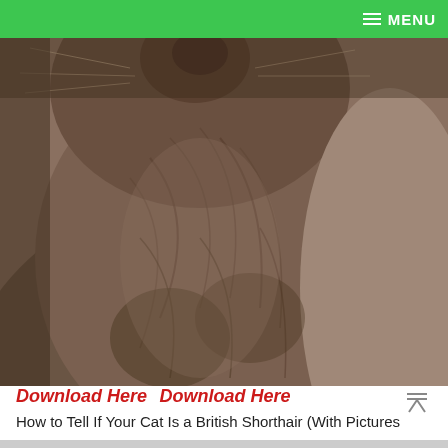MENU
[Figure (photo): Close-up sepia-toned photo of a British Shorthair cat looking upward, showing its face, chest and belly with dense plush fur.]
Download Here  Download Here
How to Tell If Your Cat Is a British Shorthair (With Pictures